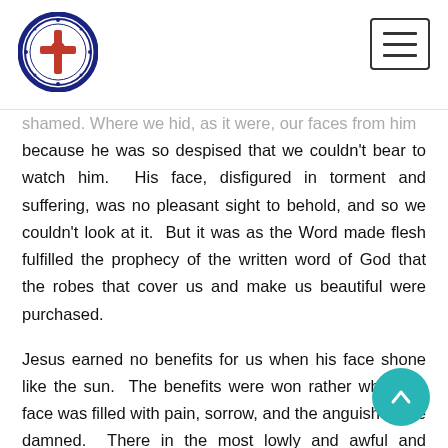Lutheran church logo and navigation menu button
shamed. Where we hid, as it were, our faces from him because he was so despised that we couldn't bear to watch him. His face, disfigured in torment and suffering, was no pleasant sight to behold, and so we couldn't look at it. But it was as the Word made flesh fulfilled the prophecy of the written word of God that the robes that cover us and make us beautiful were purchased.
Jesus earned no benefits for us when his face shone like the sun. The benefits were won rather when his face was filled with pain, sorrow, and the anguish of the damned. There in the most lowly and awful and shame filled time and place of all history – a time and a place where Peter repeatedly told Jesus not to go –